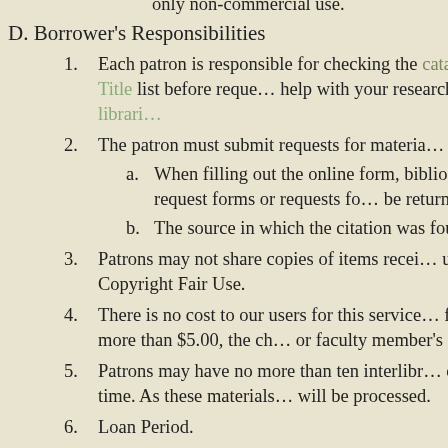only non-commercial use.
D. Borrower's Responsibilities
Each patron is responsible for checking the catalog or Journals by Title list before reque... help with your research, please ask a librari...
The patron must submit requests for materia... system.
When filling out the online form, bibliogr... incomplete request forms or requests fo... be returned to the patron.
The source in which the citation was fou... form.
Patrons may not share copies of items recei... under the terms for Copyright Fair Use.
There is no cost to our users for this service... fee. If the amount is more than $5.00, the ch... or faculty member's department.
Patrons may have no more than ten interlibr... checked out at one time. As these materials... will be processed.
Loan Period.